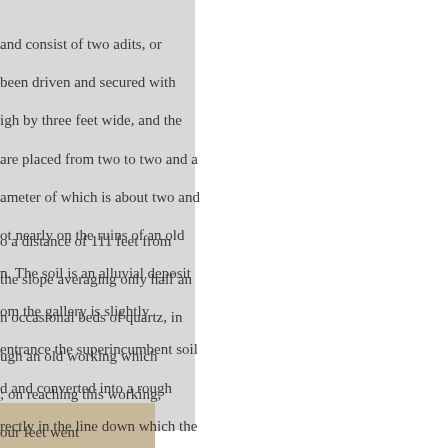and consist of two adits, or been driven and secured with igh by three feet wide, and the are placed from two to two and a ameter of which is about two and ot nearly on the ruins of an old n. The soil is an alluvial deposit om the gallery is slightly entrance the superincumbent soil d and converted into a rough rectly in the line down which the
o a distance of 111 feet from the slope averaging only half an n occasional beds of quartz, in ugh an old working which ; on reaching this working, our feet went